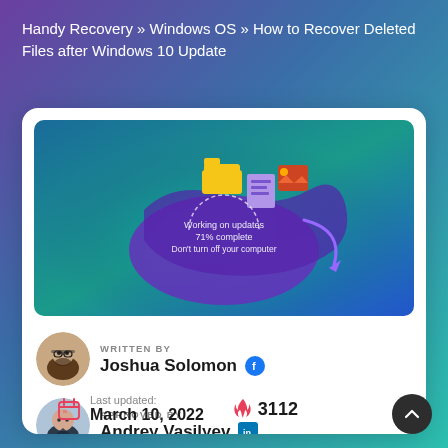Handy Recovery » Windows OS » How to Recover Deleted Files after Windows 10 Update
[Figure (screenshot): Windows 10 update screen with floating file icons (folder, document, photo) and text: 'Working on updates 71% complete Don't turn off your computer']
WRITTEN BY
Joshua Solomon
APPROVED BY
Andrey Vasilyev
Last updated:
March 10, 2022
3112